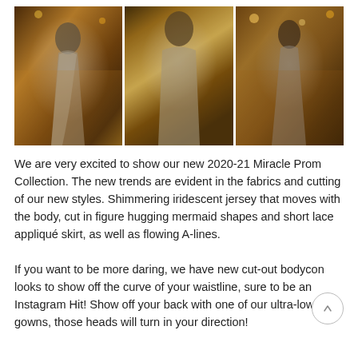[Figure (photo): Three photos of a model wearing a shimmering silver sequin prom gown in an outdoor evening setting: left shows full-length front pose, center shows close-up front torso view, right shows back view of the gown.]
We are very excited to show our new 2020-21 Miracle Prom Collection. The new trends are evident in the fabrics and cutting of our new styles. Shimmering iridescent jersey that moves with the body, cut in figure hugging mermaid shapes and short lace appliqué skirt, as well as flowing A-lines.
If you want to be more daring, we have new cut-out bodycon looks to show off the curve of your waistline, sure to be an Instagram Hit! Show off your back with one of our ultra-low-cut gowns, those heads will turn in your direction!